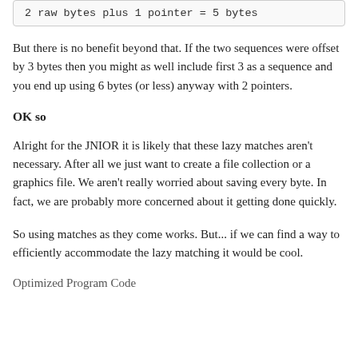2 raw bytes plus 1 pointer = 5 bytes
But there is no benefit beyond that. If the two sequences were offset by 3 bytes then you might as well include first 3 as a sequence and you end up using 6 bytes (or less) anyway with 2 pointers.
OK so
Alright for the JNIOR it is likely that these lazy matches aren't necessary. After all we just want to create a file collection or a graphics file. We aren't really worried about saving every byte. In fact, we are probably more concerned about it getting done quickly.
So using matches as they come works. But... if we can find a way to efficiently accommodate the lazy matching it would be cool.
Optimized Program Code